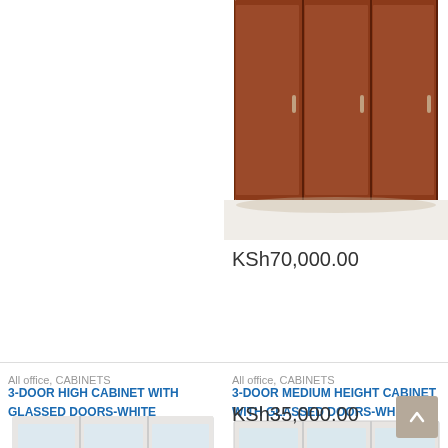[Figure (photo): Dark wood 3-door cabinet (partial view, top portion only)]
KSh70,000.00
All office, CABINETS
3-DOOR HIGH CABINET WITH GLASSED DOORS-WHITE
[Figure (photo): White 3-door high cabinet with glass doors]
All office, CABINETS
3-DOOR MEDIUM HEIGHT CABINET WITH GLASSED DOORS-WHITE
[Figure (photo): White 3-door medium height cabinet with glass doors]
KSh35,000.00